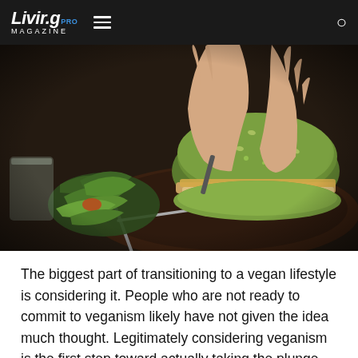Livir.g PRO MAGAZINE
[Figure (photo): Close-up of hands holding a green sesame bun burger on a dark plate with fresh salad greens and a fork, restaurant setting]
The biggest part of transitioning to a vegan lifestyle is considering it. People who are not ready to commit to veganism likely have not given the idea much thought. Legitimately considering veganism is the first step toward actually taking the plunge and is often the